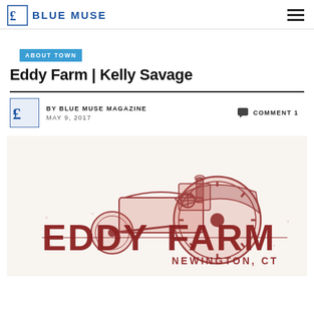BLUE MUSE
ABOUT TOWN
Eddy Farm | Kelly Savage
BY BLUE MUSE MAGAZINE   COMMENT 1   MAY 9, 2017
[Figure (logo): Eddy Farm logo with vintage tractor illustration in dark red/burgundy. Text reads EDDY FARM NEWINGTON, CT]